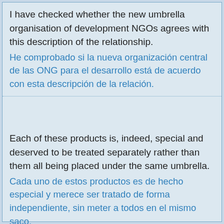I have checked whether the new umbrella organisation of development NGOs agrees with this description of the relationship.
He comprobado si la nueva organización central de las ONG para el desarrollo está de acuerdo con esta descripción de la relación.
Each of these products is, indeed, special and deserved to be treated separately rather than them all being placed under the same umbrella.
Cada uno de estos productos es de hecho especial y merece ser tratado de forma independiente, sin meter a todos en el mismo saco.